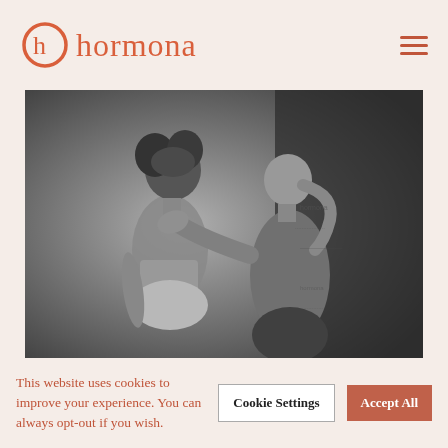[Figure (logo): Hormona logo with circular h icon in coral/orange-red color and the wordmark 'hormona' in matching coral serif font]
[Figure (photo): Black and white photograph of two women, one with curly dark hair wearing a crop top and shorts, and one with straight light hair wearing a long-sleeve shirt, touching the first woman's shoulder/back in what appears to be a supportive or examination gesture]
This website uses cookies to improve your experience. You can always opt-out if you wish.